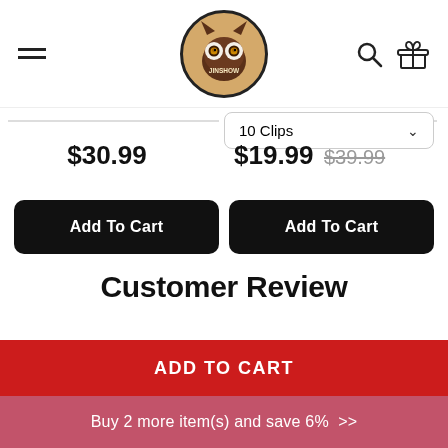[Figure (logo): JINSHOW brand logo: owl face on a tan circle with black border]
$30.99
$19.99 $39.99
10 Clips
Add To Cart
Add To Cart
Customer Review
ADD TO CART
Buy 2 more item(s) and save 6%  >>